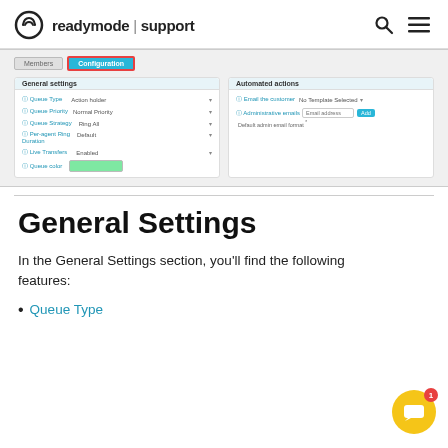readymode | support
[Figure (screenshot): Screenshot of a queue configuration UI showing 'Members' and 'Configuration' tabs (Configuration highlighted in blue with red border), a 'General settings' panel with fields: Queue Type (Action holder), Queue Priority (Normal Priority), Queue Strategy (Ring All), Per-agent Ring Duration (Default), Live Transfers (Enabled), Queue color (green swatch), and an 'Automated actions' panel with: Email the customer (No Template Selected), Administrative emails (Email address input with Add button), Default admin email format.]
General Settings
In the General Settings section, you'll find the following features:
Queue Type